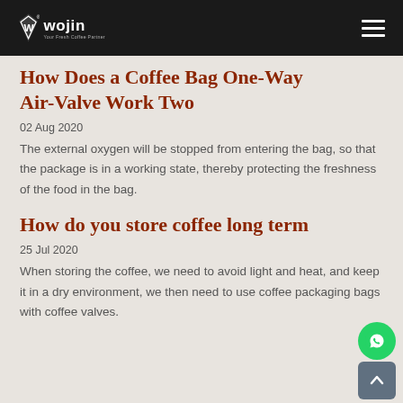Wojin — Your Fresh Coffee Partner
How Does a Coffee Bag One-Way Air-Valve Work Two
02 Aug 2020
The external oxygen will be stopped from entering the bag, so that the package is in a working state, thereby protecting the freshness of the food in the bag.
How do you store coffee long term
25 Jul 2020
When storing the coffee, we need to avoid light and heat, and keep it in a dry environment, we then need to use coffee packaging bags with coffee valves.